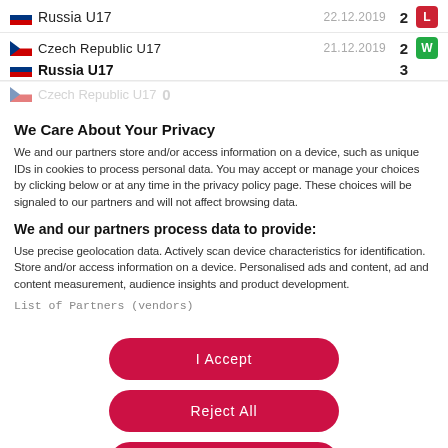Russia U17  22.12.2019  2  L
Czech Republic U17  21.12.2019  2  W
Russia U17  3
We Care About Your Privacy
We and our partners store and/or access information on a device, such as unique IDs in cookies to process personal data. You may accept or manage your choices by clicking below or at any time in the privacy policy page. These choices will be signaled to our partners and will not affect browsing data.
We and our partners process data to provide:
Use precise geolocation data. Actively scan device characteristics for identification. Store and/or access information on a device. Personalised ads and content, ad and content measurement, audience insights and product development.
List of Partners (vendors)
I Accept
Reject All
Show Purposes